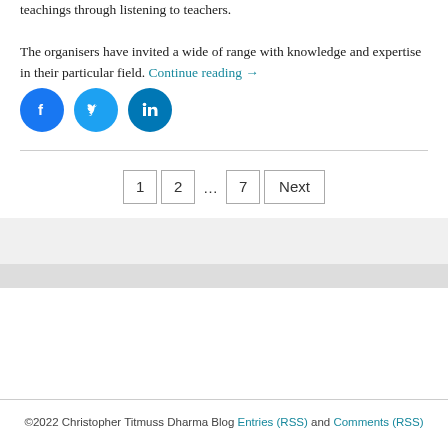teachings through listening to teachers.

The organisers have invited a wide of range with knowledge and expertise in their particular field. Continue reading →
[Figure (infographic): Three social sharing buttons: Facebook (blue circle with f icon), Twitter (blue circle with bird icon), LinkedIn (blue circle with in icon)]
1  2  …  7  Next
©2022 Christopher Titmuss Dharma Blog Entries (RSS) and Comments (RSS)